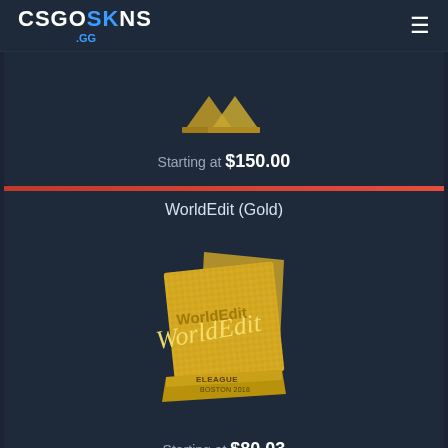CSGOSKINS .GG
Starting at $150.00
WorldEdit (Gold)
[Figure (illustration): Gold foil sticker of WorldEdit player with cursive WorldEdit signature text overlaid on gold geometric CS:GO sticker design, ELEAGUE Boston 2018 text at bottom]
Starting at $80.03